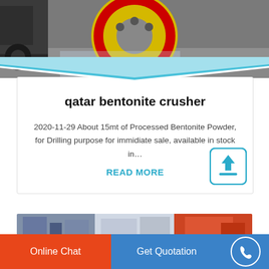[Figure (photo): Industrial crusher machinery with a large yellow and red wheel visible in a factory/warehouse setting]
qatar bentonite crusher
2020-11-29 About 15mt of Processed Bentonite Powder, for Drilling purpose for immidiate sale, available in stock in…
READ MORE
[Figure (photo): Industrial machinery strip showing multiple factory/equipment images]
Online Chat
Get Quotation